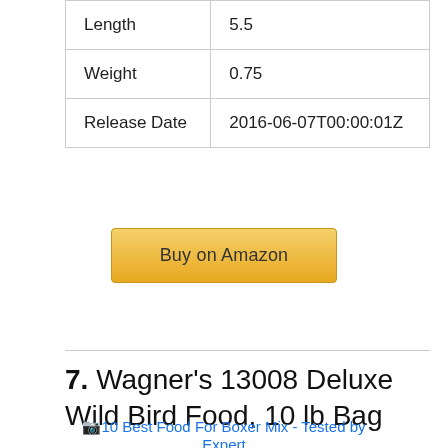| Length | 5.5 |
| Weight | 0.75 |
| Release Date | 2016-06-07T00:00:01Z |
Buy on Amazon
7. Wagner's 13008 Deluxe Wild Bird Food, 10 lb Bag
[Figure (other): Broken image placeholder with caption: 10 Best Food For Boxer Mix - Tested by Expert]